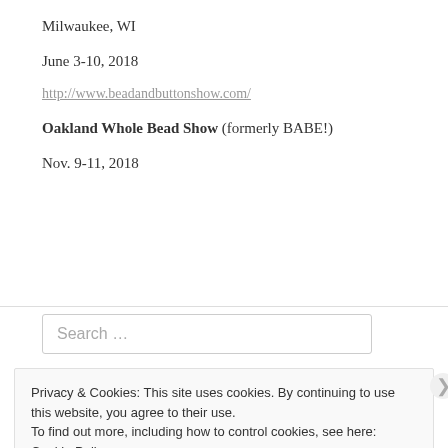Milwaukee, WI
June 3-10, 2018
http://www.beadandbuttonshow.com/
Oakland Whole Bead Show (formerly BABE!)
Nov. 9-11, 2018
Search …
Privacy & Cookies: This site uses cookies. By continuing to use this website, you agree to their use.
To find out more, including how to control cookies, see here: Cookie Policy
Close and accept